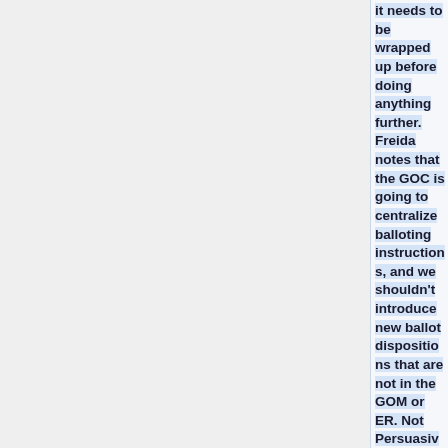it needs to be wrapped up before doing anything further. Freida notes that the GOC is going to centralize balloting instructions, and we shouldn't introduce new ballot dispositions that are not in the GOM or ER. Not Persuasive with Mod and Persuasive with Mod aren't in the ER. Need to ask Karen to